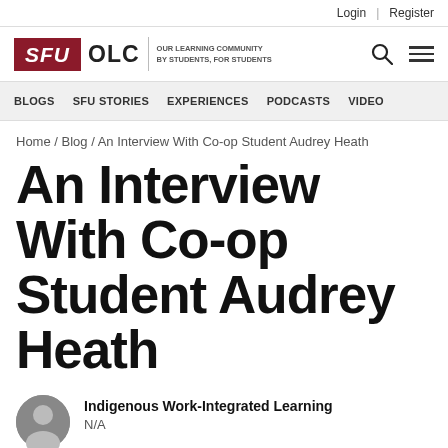Login | Register
[Figure (logo): SFU OLC Our Learning Community logo with search and menu icons]
BLOGS  SFU STORIES  EXPERIENCES  PODCASTS  VIDEO
Home / Blog / An Interview With Co-op Student Audrey Heath
An Interview With Co-op Student Audrey Heath
Indigenous Work-Integrated Learning
N/A